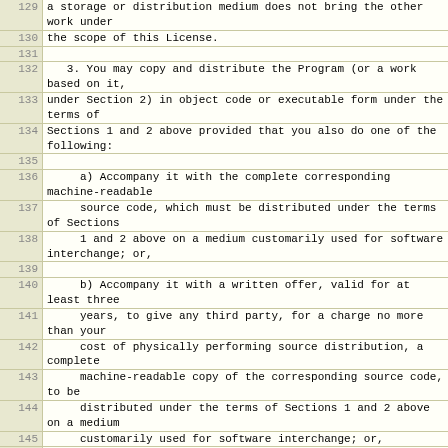129: a storage or distribution medium does not bring the other work under
130: the scope of this License.
131: (empty)
132: 3. You may copy and distribute the Program (or a work based on it,
133: under Section 2) in object code or executable form under the terms of
134: Sections 1 and 2 above provided that you also do one of the following:
135: (empty)
136: a) Accompany it with the complete corresponding machine-readable
137: source code, which must be distributed under the terms of Sections
138: 1 and 2 above on a medium customarily used for software interchange; or,
139: (empty)
140: b) Accompany it with a written offer, valid for at least three
141: years, to give any third party, for a charge no more than your
142: cost of physically performing source distribution, a complete
143: machine-readable copy of the corresponding source code, to be
144: distributed under the terms of Sections 1 and 2 above on a medium
145: customarily used for software interchange; or,
146: (empty)
147: c) Accompany it with the information you received as to the offer
148: to distribute corresponding source code.  (This alternative is
149: allowed only for noncommercial distribution and only